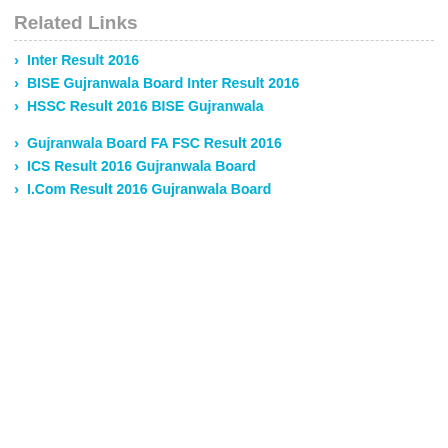Related Links
Inter Result 2016
BISE Gujranwala Board Inter Result 2016
HSSC Result 2016 BISE Gujranwala
Gujranwala Board FA FSC Result 2016
ICS Result 2016 Gujranwala Board
I.Com Result 2016 Gujranwala Board